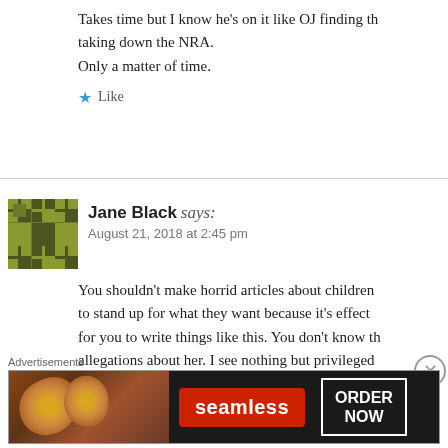Takes time but I know he's on it like OJ finding th... taking down the NRA.
Only a matter of time.
★ Like
Jane Black says:
August 21, 2018 at 2:45 pm
You shouldn't make horrid articles about children... to stand up for what they want because it's effect... for you to write things like this. You don't know th... allegations about her. I see nothing but privileged... someone for protecting their own.
Advertisements
[Figure (screenshot): Seamless food delivery advertisement showing pizza image, Seamless logo in red, and ORDER NOW button]